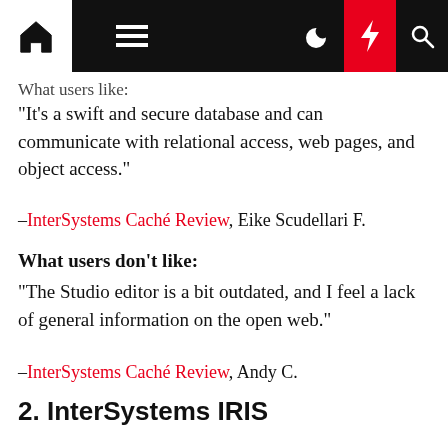[Navigation bar with home, menu, moon, bolt, search icons]
What users like:
"It's a swift and secure database and can communicate with relational access, web pages, and object access."
–InterSystems Caché Review, Eike Scudellari F.
What users don't like:
"The Studio editor is a bit outdated, and I feel a lack of general information on the open web."
–InterSystems Caché Review, Andy C.
2. InterSystems IRIS
InterSystems IRIS is a high-performance data management platform that gives IT specialists the tools to develop machine learning and data